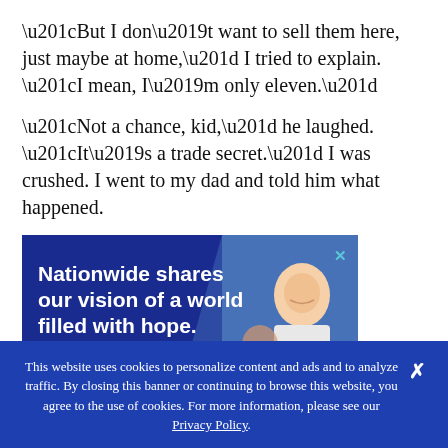“But I don’t want to sell them here, just maybe at home,” I tried to explain. “I mean, I’m only eleven.”
“Not a chance, kid,” he laughed. “It’s a trade secret.” I was crushed. I went to my dad and told him what happened.
[Figure (illustration): Advertisement banner for Nationwide/Guideposts with dark blue background, bold white text reading 'Nationwide shares our vision of a world filled with hope.' attributed to John Temple, CEO Guideposts. Photo of elderly smiling man on right side. Close button (X) in top right corner.]
This website uses cookies to personalize content and ads and to analyze traffic. By closing this banner or continuing to browse this website, you agree to the use of cookies. For more information, please see our Privacy Policy.